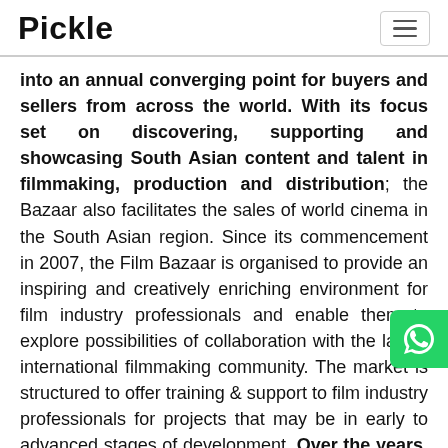Pickle
into an annual converging point for buyers and sellers from across the world. With its focus set on discovering, supporting and showcasing South Asian content and talent in filmmaking, production and distribution; the Bazaar also facilitates the sales of world cinema in the South Asian region. Since its commencement in 2007, the Film Bazaar is organised to provide an inspiring and creatively enriching environment for film industry professionals and enable them to explore possibilities of collaboration with the larger international filmmaking community. The market is structured to offer training & support to film industry professionals for projects that may be in early to advanced stages of development. Over the years, films such as The Lunchbox, Margarita With A